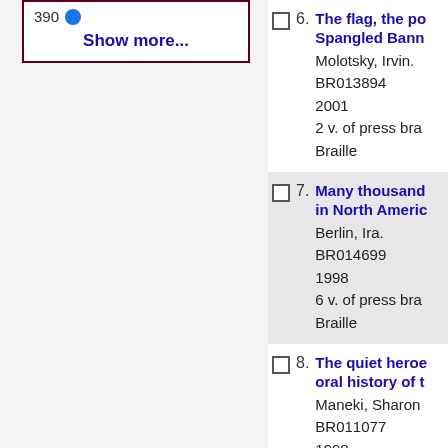390 Show more...
6. The flag, the po... Spangled Bann... Molotsky, Irvin. BR013894 2001 2 v. of press bra Braille
7. Many thousand... in North Americ... Berlin, Ira. BR014699 1998 6 v. of press bra Braille
8. The quiet heroe... oral history of t... Maneki, Sharon BR011077 1998